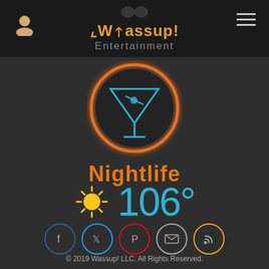[Figure (screenshot): Wassup! Entertainment app header with logo, user icon, and hamburger menu]
[Figure (logo): Nightlife section with neon martini glass icon in orange circle and Nightlife label in orange text]
106°
[Figure (infographic): Social media icons: Facebook, Twitter, Pinterest, Email, RSS in circular buttons]
© 2019 Wassup! LLC. All Rights Reserved.